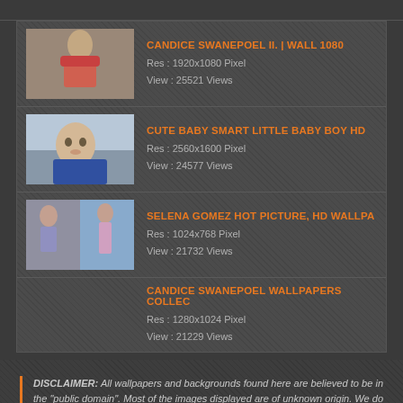CANDICE SWANEPOEL II. | WALL 1080
Res : 1920x1080 Pixel
View : 25521 Views
CUTE BABY SMART LITTLE BABY BOY HD
Res : 2560x1600 Pixel
View : 24577 Views
SELENA GOMEZ HOT PICTURE, HD WALLPA
Res : 1024x768 Pixel
View : 21732 Views
CANDICE SWANEPOEL WALLPAPERS COLLEC
Res : 1280x1024 Pixel
View : 21229 Views
DISCLAIMER: All wallpapers and backgrounds found here are believed to be in the "public domain". Most of the images displayed are of unknown origin. We do not intend to infringe any legitimate intellectual right, artistic rights or copyright. If you are the rightful owner of any of the pictures/wallpapers posted here, and you do not want it to be displayed or if you require a suitable credit, then please contact us and we will immediately